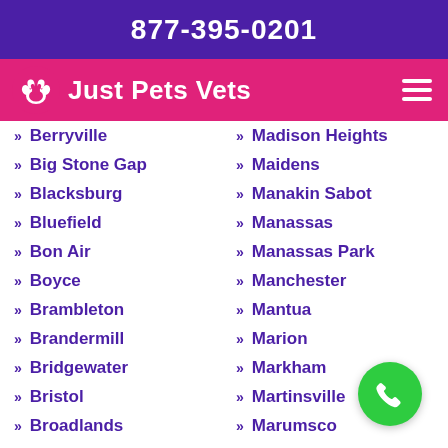877-395-0201
Just Pets Vets
Berryville
Big Stone Gap
Blacksburg
Bluefield
Bon Air
Boyce
Brambleton
Brandermill
Bridgewater
Bristol
Broadlands
Buckhall
Buena Vista
Madison Heights
Maidens
Manakin Sabot
Manassas
Manassas Park
Manchester
Mantua
Marion
Markham
Martinsville
Marumsco
Massanetta Springs
Mc Lean